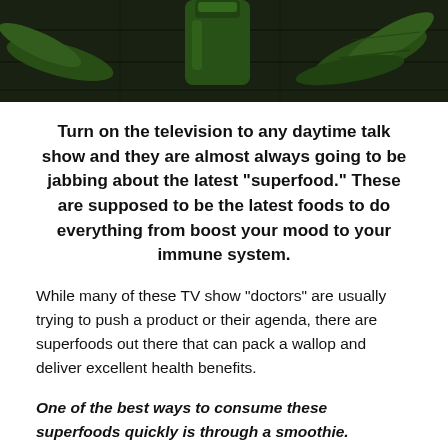[Figure (photo): Top portion of a photo showing green vegetables and a green smoothie bottle on a dark wooden surface]
Turn on the television to any daytime talk show and they are almost always going to be jabbing about the latest “superfood.” These are supposed to be the latest foods to do everything from boost your mood to your immune system.
While many of these TV show “doctors” are usually trying to push a product or their agenda, there are superfoods out there that can pack a wallop and deliver excellent health benefits.
One of the best ways to consume these superfoods quickly is through a smoothie.
But how can you identify these superfoods and make